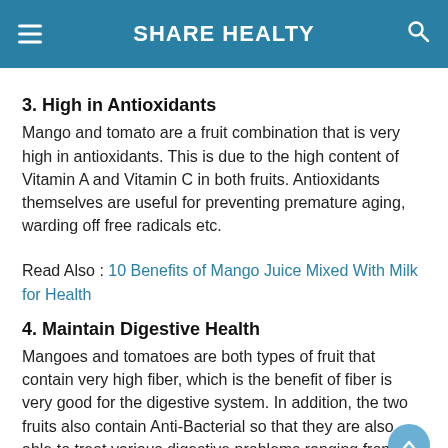SHARE HEALTY
3. High in Antioxidants
Mango and tomato are a fruit combination that is very high in antioxidants. This is due to the high content of Vitamin A and Vitamin C in both fruits. Antioxidants themselves are useful for preventing premature aging, warding off free radicals etc.
Read Also : 10 Benefits of Mango Juice Mixed With Milk for Health
4. Maintain Digestive Health
Mangoes and tomatoes are both types of fruit that contain very high fiber, which is the benefit of fiber is very good for the digestive system. In addition, the two fruits also contain Anti-Bacterial so that they are also able to treat various digestive problems ranging from constipation to diarrhea.